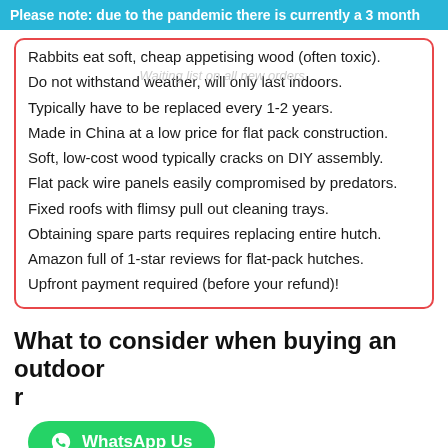Please note: due to the pandemic there is currently a 3 month
Rabbits eat soft, cheap appetising wood (often toxic).
Do not withstand weather, will only last indoors.
Typically have to be replaced every 1-2 years.
Made in China at a low price for flat pack construction.
Soft, low-cost wood typically cracks on DIY assembly.
Flat pack wire panels easily compromised by predators.
Fixed roofs with flimsy pull out cleaning trays.
Obtaining spare parts requires replacing entire hutch.
Amazon full of 1-star reviews for flat-pack hutches.
Upfront payment required (before your refund)!
What to consider when buying an outdoor r
If you are looking for a new outdoor rabbit hutch, a large rabbit hutch, or a superior looking for rabbit hutch sizing